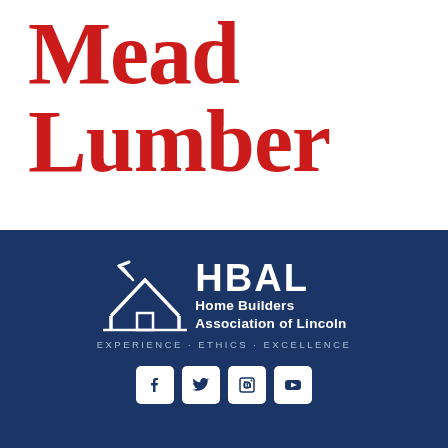[Figure (logo): Mead Lumber logo text in large bold red serif font on white background]
[Figure (logo): HBAL Home Builders Association of Lincoln logo with house icon on dark navy background, tagline EXPERIENCE · ETHICS · EXCELLENCE, and social media icons for Facebook, Twitter, LinkedIn, YouTube]